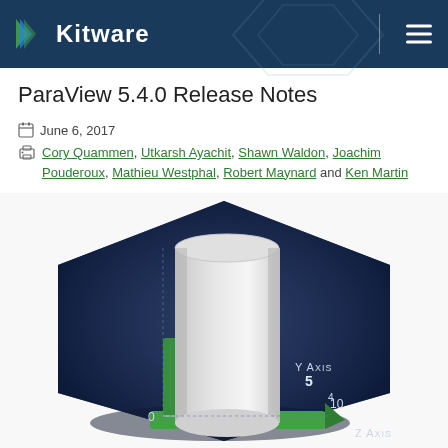Kitware
ParaView 5.4.0 Release Notes
June 6, 2017
Cory Quammen, Utkarsh Ayachit, Shawn Waldon, Joachim Pouderoux, Mathieu Westphal, Robert Maynard and Ken Martin
[Figure (engineering-diagram): 3D rendering of a cylinder on a coordinate axis with Y Axis label showing value 5, Z Axis label, and value 0 on axes, displayed within a dark hexagonal background. Green arrow points along Z axis.]